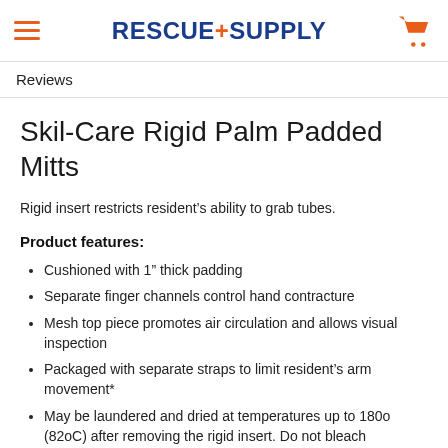RESCUE+SUPPLY
Reviews
Skil-Care Rigid Palm Padded Mitts
Rigid insert restricts resident's ability to grab tubes.
Product features:
Cushioned with 1" thick padding
Separate finger channels control hand contracture
Mesh top piece promotes air circulation and allows visual inspection
Packaged with separate straps to limit resident's arm movement*
May be laundered and dried at temperatures up to 180o (82oC) after removing the rigid insert. Do not bleach